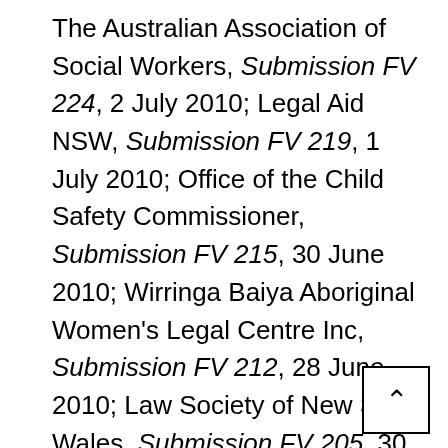The Australian Association of Social Workers, Submission FV 224, 2 July 2010; Legal Aid NSW, Submission FV 219, 1 July 2010; Office of the Child Safety Commissioner, Submission FV 215, 30 June 2010; Wirringa Baiya Aboriginal Women's Legal Centre Inc, Submission FV 212, 28 June 2010; Law Society of New South Wales, Submission FV 205, 30 June 2010; Solomums Australia for Family Equity, Submission FV 200, 28 June 2010; National Abuse Free Contact Campaign, Submission FV 196, 26 June 2010; Confidential, Submission FV 184, 25 June 2010; Women's Legal Services NSW,